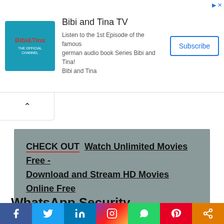[Figure (screenshot): Ad banner for Bibi and Tina TV with channel logo, title 'Bibi and Tina TV', description text, and Subscribe button]
CHECK OUT  Watch Unlimited Movies Free - Download and Stream HD Movies Online Free
WhatsApp Security
WhatsApp was built to help you stay in touch with friends, share information, reconnect with separated families and seek a better life, that is why we built the
[Figure (infographic): Social media share bar with Facebook, Twitter, LinkedIn, Instagram, WhatsApp, Pinterest, and share buttons]